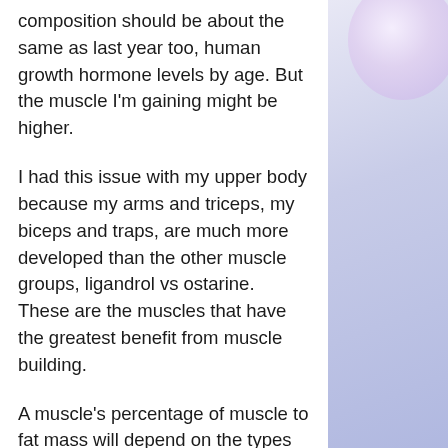composition should be about the same as last year too, human growth hormone levels by age. But the muscle I'm gaining might be higher.
I had this issue with my upper body because my arms and triceps, my biceps and traps, are much more developed than the other muscle groups, ligandrol vs ostarine. These are the muscles that have the greatest benefit from muscle building.
A muscle's percentage of muscle to fat mass will depend on the types of training it is doing, the amount of time it has been working and the intensity of the training, clenbuterol in bodybuilding. There are however two types of exercise that do not affect these variables.
The most important is cardio, muscle building to be from the. Some types of